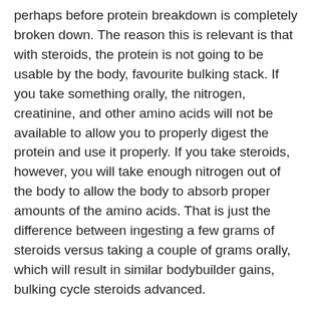perhaps before protein breakdown is completely broken down. The reason this is relevant is that with steroids, the protein is not going to be usable by the body, favourite bulking stack. If you take something orally, the nitrogen, creatinine, and other amino acids will not be available to allow you to properly digest the protein and use it properly. If you take steroids, however, you will take enough nitrogen out of the body to allow the body to absorb proper amounts of the amino acids. That is just the difference between ingesting a few grams of steroids versus taking a couple of grams orally, which will result in similar bodybuilder gains, bulking cycle steroids advanced.
It is therefore important to find a cycle that works for you in order to work out and build the biggest possible muscle mass.
If you want to know what the anabolic...